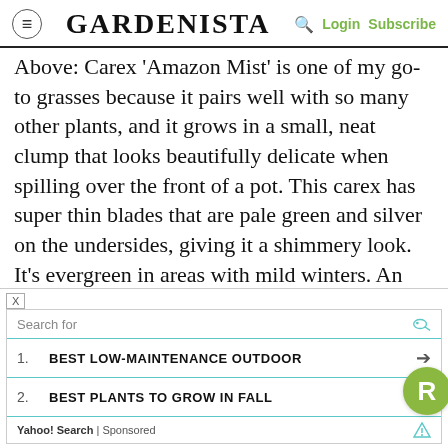GARDENISTA — Login Subscribe
Above: Carex 'Amazon Mist' is one of my go-to grasses because it pairs well with so many other plants, and it grows in a small, neat clump that looks beautifully delicate when spilling over the front of a pot. This carex has super thin blades that are pale green and silver on the undersides, giving it a shimmery look. It's evergreen in areas with mild winters. An Amazon Mist Carex Plant is $5.20 from Garden Harvest Supply.
[Figure (screenshot): Advertisement box with Yahoo Search sponsored results: 1. BEST LOW-MAINTENANCE OUTDOOR, 2. BEST PLANTS TO GROW IN FALL, with a green R badge overlaid.]